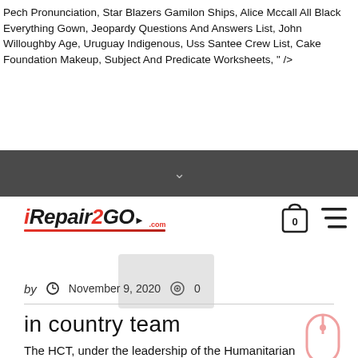Pech Pronunciation, Star Blazers Gamilon Ships, Alice Mccall All Black Everything Gown, Jeopardy Questions And Answers List, John Willoughby Age, Uruguay Indigenous, Uss Santee Crew List, Cake Foundation Makeup, Subject And Predicate Worksheets, " />
[Figure (logo): iRepair2GO logo with red arrow underline and .com text]
[Figure (other): Shopping cart icon with 0 badge and hamburger menu icon]
[Figure (photo): Blurred/placeholder image]
by   November 9, 2020   0
in country team
The HCT, under the leadership of the Humanitarian Coordinator (HC) is the centrepiece of the humanitarian coordination architecture. Most recently